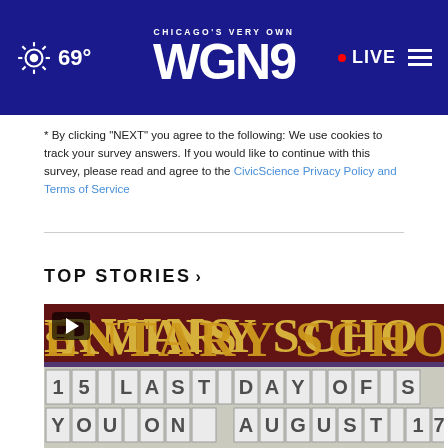Chicago's Very Own WGN9 — 69° LIVE
* By clicking "NEXT" you agree to the following: We use cookies to track your survey answers. If you would like to continue with this survey, please read and agree to the CivicScience Privacy Policy and Terms of Service
TOP STORIES ›
[Figure (photo): Video thumbnail showing a school marquee sign reading partial text: top row in gold letters on dark red background 'IRVINS (partial) ENTARY SCHO', bottom white marquee tile section reading '15 LAST DAY OF S' and 'YOU ON AUGUST 17' with play button overlay]